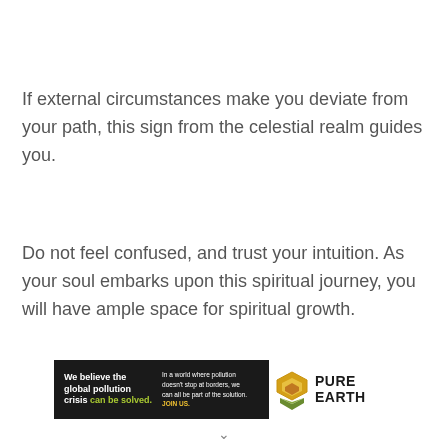If external circumstances make you deviate from your path, this sign from the celestial realm guides you.
Do not feel confused, and trust your intuition. As your soul embarks upon this spiritual journey, you will have ample space for spiritual growth.
[Figure (infographic): Pure Earth advertisement banner: black background left side with text 'We believe the global pollution crisis can be solved.' and right side with Pure Earth logo and diamond icon.]